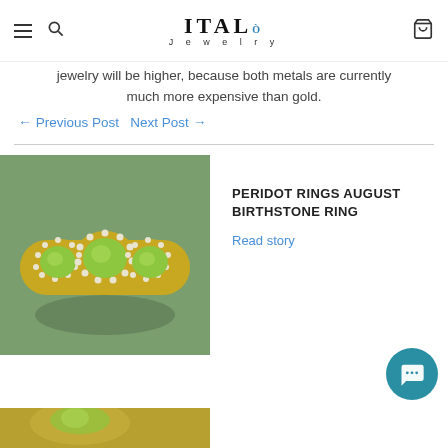ITALO Jewelry
jewelry will be higher, because both metals are currently much more expensive than gold.
← Previous Post   Next Post →
[Figure (photo): Photo of a peridot and diamond band ring on a green background]
PERIDOT RINGS AUGUST BIRTHSTONE RING
Read story
[Figure (photo): Partial photo of a peridot ring at the bottom of the page]